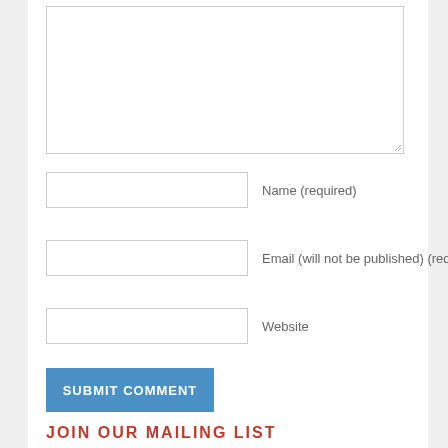[Figure (screenshot): A web comment form textarea (large empty text input box with resize handle at bottom-right corner)]
Name (required)
Email (will not be published) (required)
Website
SUBMIT COMMENT
JOIN OUR MAILING LIST